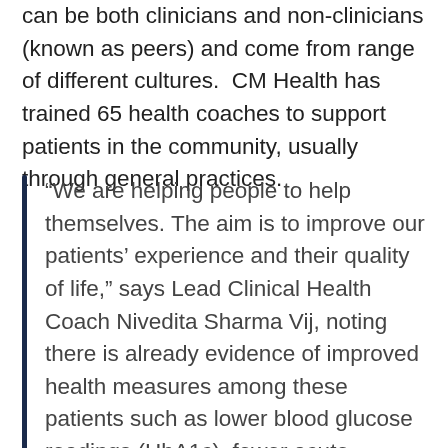can be both clinicians and non-clinicians (known as peers) and come from range of different cultures. CM Health has trained 65 health coaches to support patients in the community, usually through general practices.
“We are helping people to help themselves. The aim is to improve our patients’ experience and their quality of life,” says Lead Clinical Health Coach Nivedita Sharma Vij, noting there is already evidence of improved health measures among these patients such as lower blood glucose readings (HbA1c), fewer acute (emergency) presentations, lower rates of patients not attending appointments, healthier blood pressure ranges and better adherence to